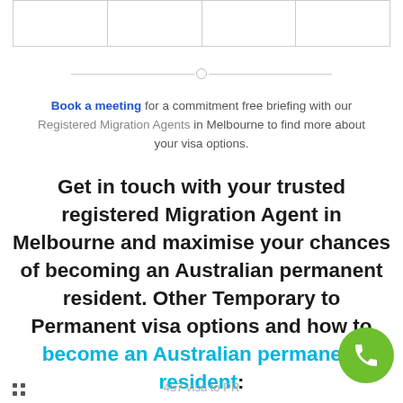|  |  |  |  |
Book a meeting for a commitment free briefing with our Registered Migration Agents in Melbourne to find more about your visa options.
Get in touch with your trusted registered Migration Agent in Melbourne and maximise your chances of becoming an Australian permanent resident. Other Temporary to Permanent visa options and how to become an Australian permanent resident:
457 visa to PR